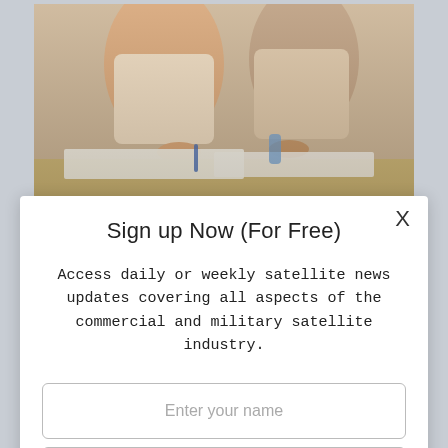[Figure (photo): Two people sitting at a table with papers, appears to be a meeting or signing event. Partial view showing torsos and hands.]
Sign up Now (For Free)
Access daily or weekly satellite news updates covering all aspects of the commercial and military satellite industry.
Enter your name
Enter your email
Notify Me Regarding ( At least one ):
SatNews Daily